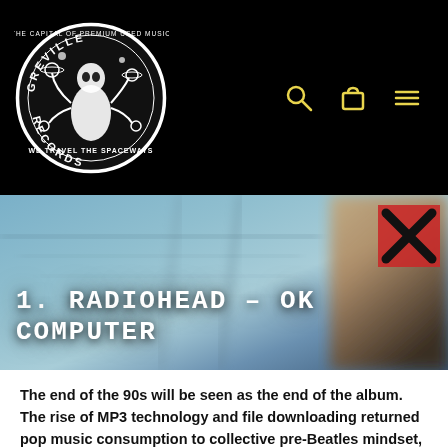[Figure (logo): Greville Records circular logo in black and white featuring an illustrated figure with planet/space motifs and text 'GREVILLE RECORDS' and 'WE TRAVEL THE SPACEWAYS']
[Figure (other): Navigation icons: search (magnifying glass), shopping bag/cart, and hamburger menu, rendered in yellow on black background]
[Figure (photo): Hero banner image showing abstract bluish/teal blurred artwork (OK Computer album art style) with a brownish blurred figure on the right and a red box with black X mark overlay]
1. Radiohead - OK Computer
The end of the 90s will be seen as the end of the album. The rise of MP3 technology and file downloading returned pop music consumption to collective pre-Beatles mindset, where